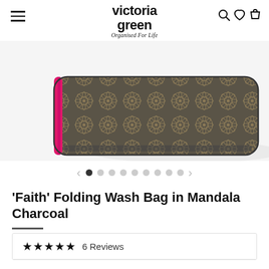victoria green — Organised For Life
[Figure (photo): Partial view of a folding wash bag with Mandala Charcoal pattern — dark grey with golden geometric/floral mandala design and pink zipper accent, viewed from below at an angle against a white background.]
'Faith' Folding Wash Bag in Mandala Charcoal
★★★★★ 6 Reviews